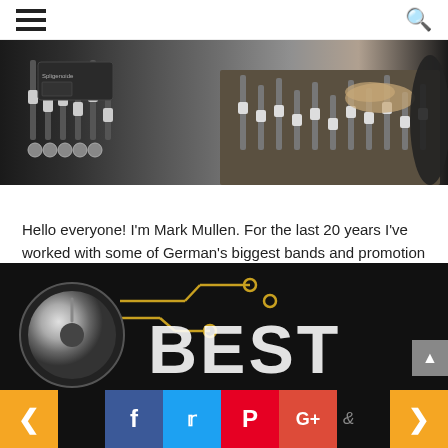Navigation menu and search icon
[Figure (photo): A person working at a professional audio mixing console/board in a recording studio. Close-up view showing faders, knobs, and controls on a large mixing desk.]
Hello everyone! I'm Mark Mullen. For the last 20 years I've worked with some of German's biggest bands and promotion companies organizing industrial sound systems and special acoustic installations. I created this site as a resource for my many friends worldwide to make the process of buying a quality amp easier.
[Figure (logo): Website footer logo area showing a silver knob/dial with circuit board lines and the word BEST in large white block letters on a black background.]
[Figure (infographic): Social media navigation bar with orange left arrow, Facebook (blue), Twitter (light blue), Pinterest (red), Google+ (orange-red) icons, and orange right arrow.]